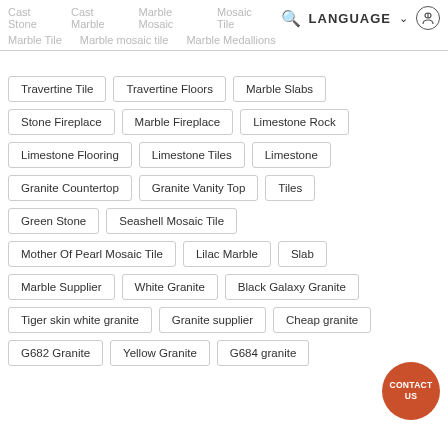Cast Stone | Cast Marble | Marble Mosaic | Mosaic Tile | Marble Tile | Marble mosaic tile | Marble Medallions | LANGUAGE
Travertine Tile
Travertine Floors
Marble Slabs
Stone Fireplace
Marble Fireplace
Limestone Rock
Limestone Flooring
Limestone Tiles
Limestone
Granite Countertop
Granite Vanity Top
Tiles
Green Stone
Seashell Mosaic Tile
Mother Of Pearl Mosaic Tile
Lilac Marble
Slab
Marble Supplier
White Granite
Black Galaxy Granite
Tiger skin white granite
Granite supplier
Cheap granite
G682 Granite
Yellow Granite
G684 granite